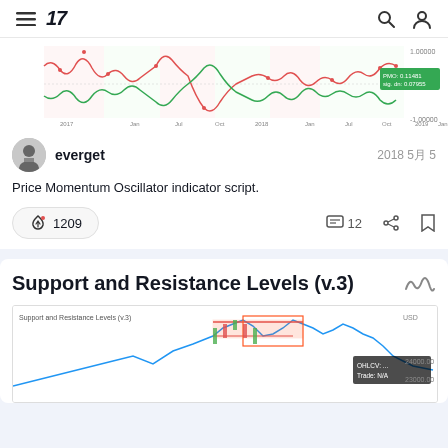TradingView navigation header
[Figure (continuous-plot): Price Momentum Oscillator chart showing red and green oscillating lines over 2017-2019 timeframe with shaded regions]
everget  2018 5月 5
Price Momentum Oscillator indicator script.
1209  12
Support and Resistance Levels (v.3)
[Figure (continuous-plot): Support and Resistance Levels (v.3) chart showing candlestick price data with red horizontal resistance and blue support lines, price around 24000-25000 range]